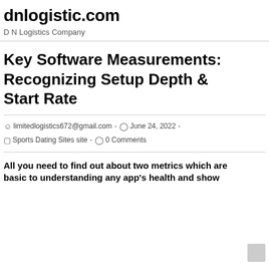dnlogistic.com
D N Logistics Company
Key Software Measurements: Recognizing Setup Depth & Start Rate
limitedlogistics672@gmail.com  -  June 24, 2022  -  Sports Dating Sites site  -  0 Comments
All you need to find out about two metrics which are basic to understanding any app's health and show